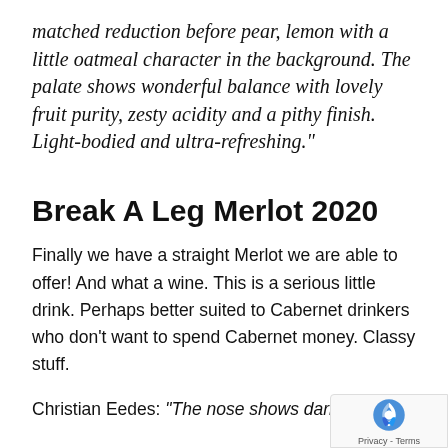matched reduction before pear, lemon with a little oatmeal character in the background. The palate shows wonderful balance with lovely fruit purity, zesty acidity and a pithy finish. Light-bodied and ultra-refreshing."
Break A Leg Merlot 2020
Finally we have a straight Merlot we are able to offer! And what a wine. This is a serious little drink. Perhaps better suited to Cabernet drinkers who don't want to spend Cabernet money. Classy stuff.
Christian Eedes: "The nose shows dark berrie...